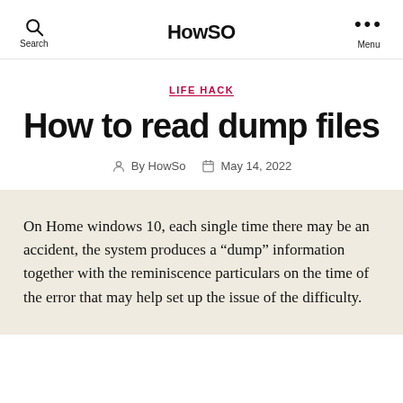HowSO
LIFE HACK
How to read dump files
By HowSo   May 14, 2022
On Home windows 10, each single time there may be an accident, the system produces a “dump” information together with the reminiscence particulars on the time of the error that may help set up the issue of the difficulty.